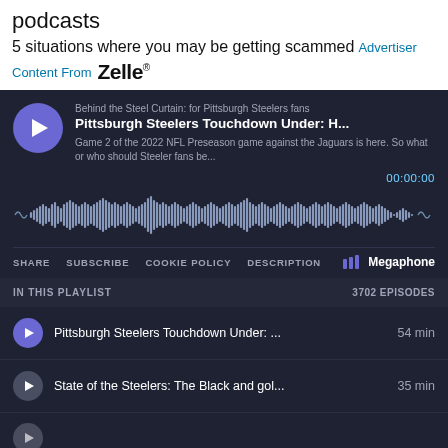podcasts
5 situations where you may be getting scammed   Advertiser Content From   Zelle
[Figure (screenshot): Megaphone podcast player embed showing 'Pittsburgh Steelers Touchdown Under: H...' episode from 'Behind the Steel Curtain: for Pittsburgh Steelers fans', with audio waveform, timer 00:00:00, SHARE, SUBSCRIBE, COOKIE POLICY, DESCRIPTION links, Megaphone branding, and a playlist with 3702 episodes including 'Pittsburgh Steelers Touchdown Under: ... 54 min', 'State of the Steelers: The Black and gol... 35 min', and a partially visible third episode.]